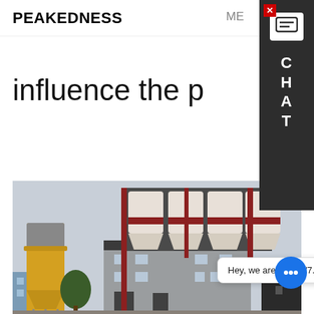PEAKEDNESS
influence the p
[Figure (photo): Concrete batching plant with multiple silos and a multi-story mixing building. A yellow cylindrical silo is visible on the left, and several white silos with red bands are arranged on a grey structural frame on the right. Industrial facility.]
ACI 211 guides the use of maximum density curves to determine the optimally combined aggregate grading and the amount of water needed to obtain a desired slump or workability